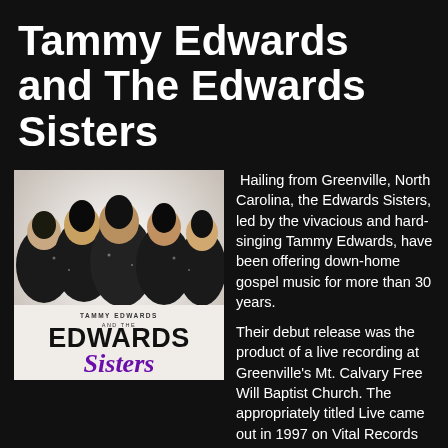Tammy Edwards and The Edwards Sisters
[Figure (photo): Album cover photo of Tammy Edwards and The Edwards Sisters — five women in sparkly black outfits posing together, with the group name displayed prominently in black and purple lettering.]
Hailing from Greenville, North Carolina, the Edwards Sisters, led by the vivacious and hard-singing Tammy Edwards, have been offering down-home gospel music for more than 30 years.
Their debut release was the product of a live recording at Greenville's Mt. Calvary Free Will Baptist Church. The appropriately titled Live came out in 1997 on Vital Records and was re-released by Silverwolf Records in 2006. The selections on Live reappeared on a Silverwolf two-CD set called Best of Black Gospel (2007) and a three-CD set called The Gospel Anthology (2009). The family